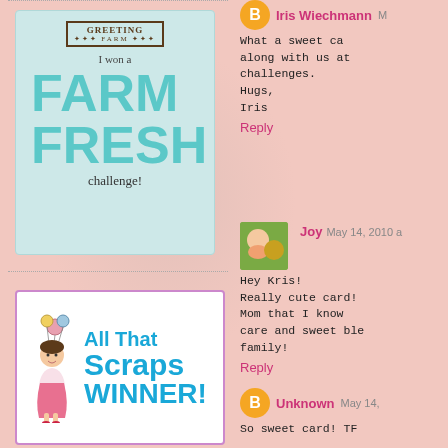[Figure (logo): Greeting Farm 'I won a FARM FRESH challenge!' badge on light teal background]
[Figure (logo): All That Scraps WINNER! badge with cartoon girl holding balloons, blue text on white background with purple border]
Iris Wiechmann M
What a sweet ca along with us at challenges. Hugs, Iris
Reply
Joy May 14, 2010 a
Hey Kris! Really cute card! Mom that I know care and sweet ble family!
Reply
Unknown May 14,
So sweet card! TF